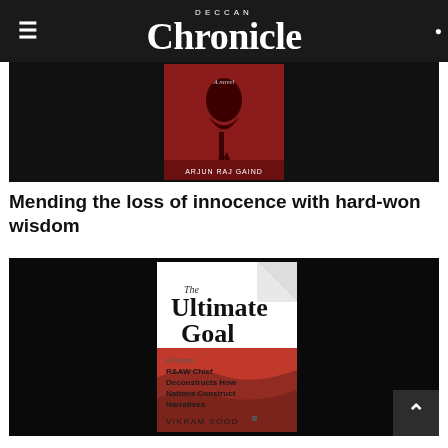Deccan Chronicle
[Figure (photo): Book cover on black background - a novel by Arjun Raj Gaind, dark red cover with bird motif]
Mending the loss of innocence with hard-won wisdom
[Figure (photo): Book cover on black background - 'The Ultimate Goal' by Vikram Sood, A Former R&AW Chief Deconstructs How Nations Construct Narratives]
Obscurantism aside, time for India to seize